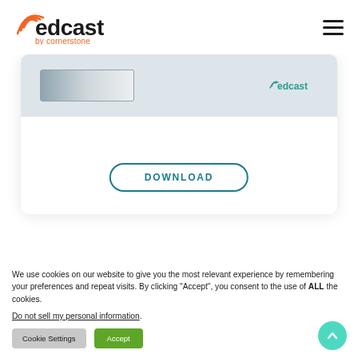[Figure (logo): EdCast by Cornerstone logo with wifi arc symbol]
[Figure (screenshot): Partial view of an EdCast content card with a DOWNLOAD button and edcast watermark]
We use cookies on our website to give you the most relevant experience by remembering your preferences and repeat visits. By clicking “Accept”, you consent to the use of ALL the cookies.
Do not sell my personal information.